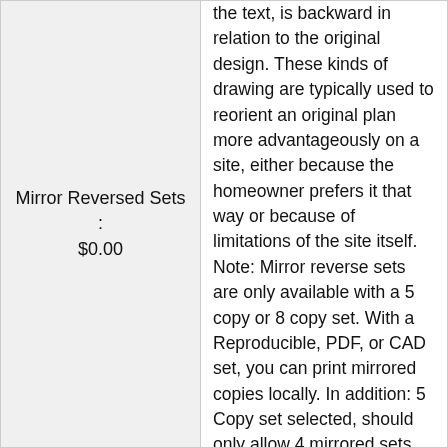Mirror Reversed Sets : $0.00
the text, is backward in relation to the original design. These kinds of drawing are typically used to reorient an original plan more advantageously on a site, either because the homeowner prefers it that way or because of limitations of the site itself. Note: Mirror reverse sets are only available with a 5 copy or 8 copy set. With a Reproducible, PDF, or CAD set, you can print mirrored copies locally. In addition: 5 Copy set selected, should only allow 4 mirrored sets